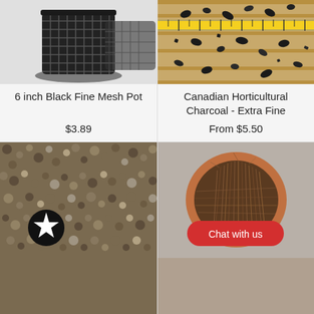[Figure (photo): Black fine mesh net pot, cylindrical with grid pattern, on white background]
6 inch Black Fine Mesh Pot
$3.89
[Figure (photo): Black horticultural charcoal pieces scattered on wood floor with yellow measuring tape]
Canadian Horticultural Charcoal - Extra Fine
From $5.50
[Figure (photo): Close-up of fine gravel/grit growing medium with star bookmark icon overlay]
[Figure (photo): Top-down view of fibrous coconut coir in a terracotta pot with red Chat with us button overlay]